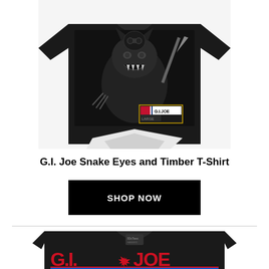[Figure (photo): Black G.I. Joe t-shirt featuring Snake Eyes and Timber (a wolf), shown folded/spread out. The shirt has a dark graphic design with the wolf character shown snarling with claws outstretched. A G.I. Joe branded label is visible on the shirt.]
G.I. Joe Snake Eyes and Timber T-Shirt
[Figure (illustration): Black SHOP NOW button rectangle]
[Figure (photo): Bottom portion of a black G.I. Joe t-shirt showing the G.I. Joe logo in red with stars, partially visible, cropped at bottom of page.]